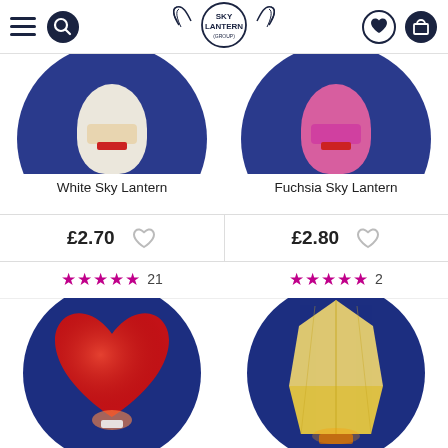Sky Lantern (shop)
[Figure (photo): White Sky Lantern product image - white lantern on dark blue circular background]
[Figure (photo): Fuchsia Sky Lantern product image - fuchsia/pink lantern on dark blue circular background]
White Sky Lantern
Fuchsia Sky Lantern
£2.70
£2.80
★★★★★ 21
★★★★★ 2
[Figure (photo): Heart-shaped red sky lantern floating against dark blue starry circular background]
[Figure (photo): Classic white/cream sky lantern against dark blue circular background]